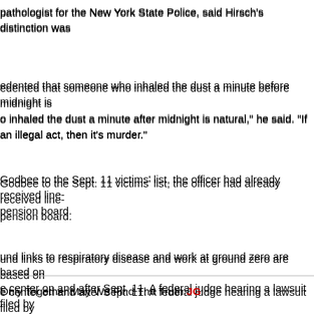pathologist for the New York State Police, said Hirsch's distinction was
edented that someone who inhaled the dust a minute before midnight is inhaled the dust a minute after midnight is natural," he said. "If an illegal act, then it's murder."
Godbee to the Sept. 11 victims' list, the officer had already received line- pension board.
und links to respiratory disease and work at ground zero are based on e center on and after Sept. 11. A federal judge hearing a lawsuit filed by e made sick by ground zero dust has not put those caught in the dust y.
aw the Sept. 11 victim compensation fund that distributed more than $1 y became sick at or near ground zero, limited the fund to workers who within four days of Sept. 11, or residents who were there within 24 hours.
ute that said the fund was to help people killed or injured on Sept. 11 or
ediate aftermath?" said Feinberg. "I think the line drawing has to be done
Only Together May We Find The Truth JG